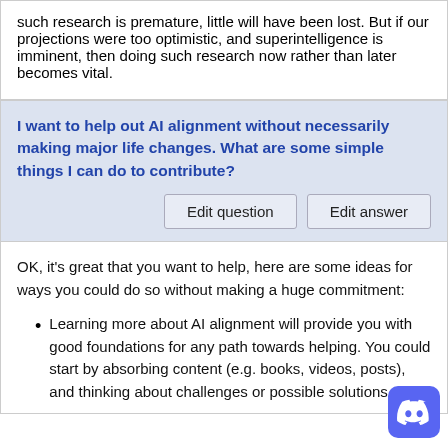such research is premature, little will have been lost. But if our projections were too optimistic, and superintelligence is imminent, then doing such research now rather than later becomes vital.
I want to help out AI alignment without necessarily making major life changes. What are some simple things I can do to contribute?
Edit question | Edit answer
OK, it's great that you want to help, here are some ideas for ways you could do so without making a huge commitment:
Learning more about AI alignment will provide you with good foundations for any path towards helping. You could start by absorbing content (e.g. books, videos, posts), and thinking about challenges or possible solutions.